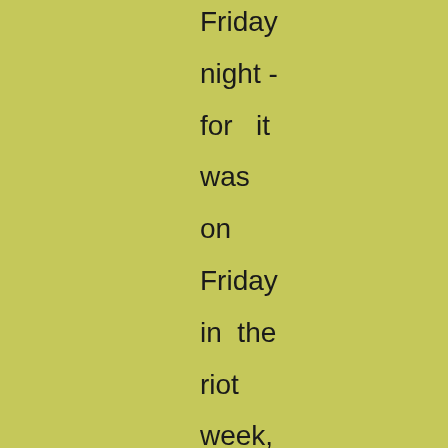Friday night - for it was on Friday in the riot week, that Emma and Dolly were rescued, by the timely aid of Joe